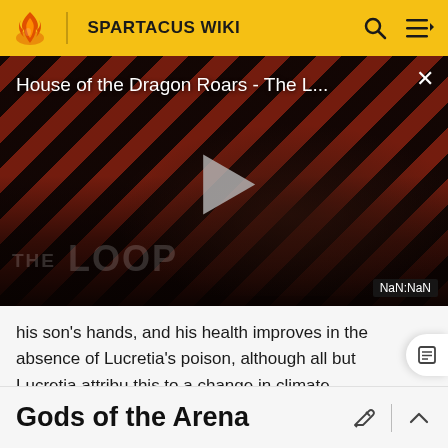SPARTACUS WIKI
[Figure (screenshot): Video player showing 'House of the Dragon Roars - The L...' with a play button in the center, diagonal red and dark stripes background, 'THE LOOP' text watermark, silhouetted figures, and NaN:NaN timestamp. Close button (x) in top right corner.]
his son's hands, and his health improves in the absence of Lucretia's poison, although all but Lucretia attribu this to a change in climate.
Gods of the Arena